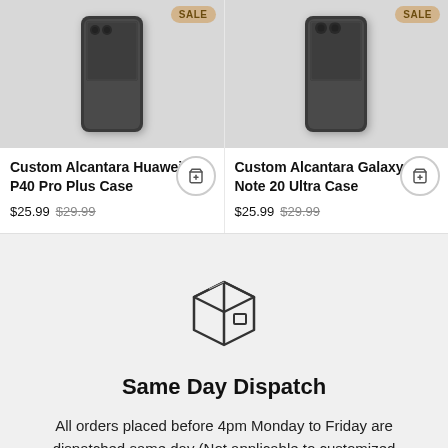[Figure (photo): Product image of Custom Alcantara Huawei P40 Pro Plus Case in dark grey with SALE badge]
Custom Alcantara Huawei P40 Pro Plus Case
$25.99 $29.99
[Figure (photo): Product image of Custom Alcantara Galaxy Note 20 Ultra Case in dark grey with SALE badge]
Custom Alcantara Galaxy Note 20 Ultra Case
$25.99 $29.99
[Figure (illustration): Line icon of a delivery box / package]
Same Day Dispatch
All orders placed before 4pm Monday to Friday are dispatched same day (Not applicable to customized products)